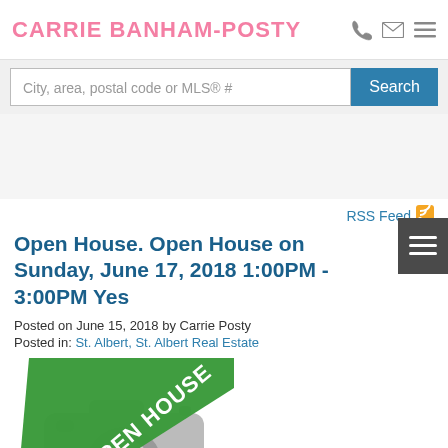CARRIE BANHAM-POSTY
City, area, postal code or MLS® #  Search
RSS Feed
Open House. Open House on Sunday, June 17, 2018 1:00PM - 3:00PM Yes
Posted on June 15, 2018 by Carrie Posty
Posted in: St. Albert, St. Albert Real Estate
[Figure (illustration): Open House badge overlay on a grey camera placeholder image. A green diagonal banner with white text 'OPEN HOUSE' crosses the top-left corner of a grey camera icon image.]